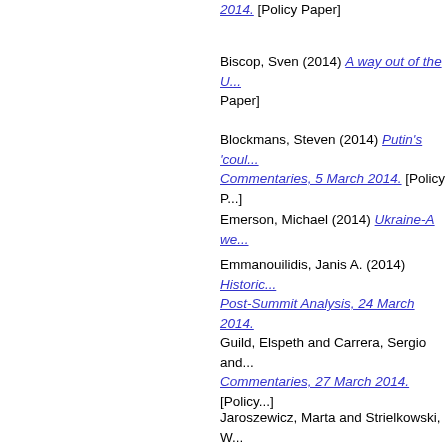2014. [Policy Paper]
Biscop, Sven (2014) A way out of the U... [Policy Paper]
Blockmans, Steven (2014) Putin's 'coul... Commentaries, 5 March 2014. [Policy P...]
Emerson, Michael (2014) Ukraine-A we...
Emmanouilidis, Janis A. (2014) Historic... Post-Summit Analysis, 24 March 2014.
Guild, Elspeth and Carrera, Sergio and... Commentaries, 27 March 2014. [Policy...]
Jaroszewicz, Marta and Strielkowski, W... Commentary No. 128, 10.03.2014. [Poli...]
Larivé, Maxime (2014) Western Strateg... Schuman Paper Series Vol. 14 Special...
Menkiszak, Marek (2014) The Putin doc... Soviet area. OSW Commentary No. 131...